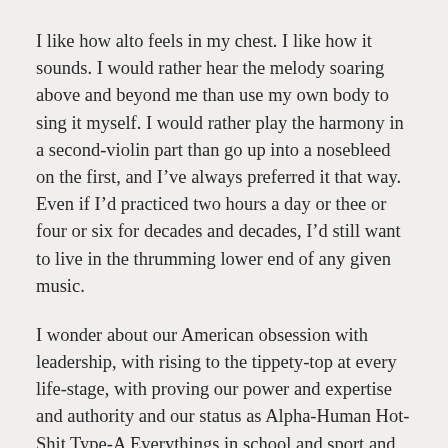I like how alto feels in my chest. I like how it sounds. I would rather hear the melody soaring above and beyond me than use my own body to sing it myself. I would rather play the harmony in a second-violin part than go up into a nosebleed on the first, and I’ve always preferred it that way. Even if I’d practiced two hours a day or thee or four or six for decades and decades, I’d still want to live in the thrumming lower end of any given music.
I wonder about our American obsession with leadership, with rising to the tippety-top at every life-stage, with proving our power and expertise and authority and our status as Alpha-Human Hot-Shit Type-A Everythings in school and sport and vocation and avocation and avocado sales, which I only added to the list because I just noticed the startling similarity between those two words. But seriously: WHY DOES EVERYONE HAVE TO BE THE TOP AT